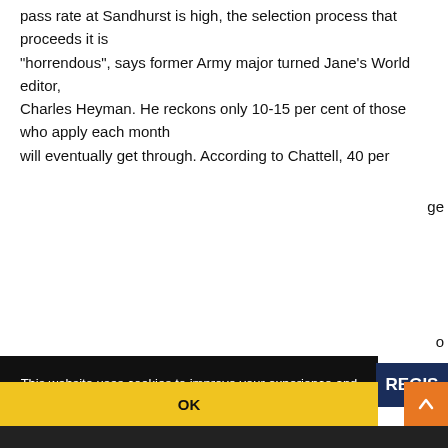pass rate at Sandhurst is high, the selection process that proceeds it is "horrendous", says former Army major turned Jane's World editor, Charles Heyman. He reckons only 10-15 per cent of those who apply each month will eventually get through. According to Chattell, 40 per
[Figure (screenshot): Cookie consent overlay on a website: dark background with white text reading 'This website uses cookies to improve your experience and for ads personalisation. By continuing to browse this site you are agreeing to our use of these cookies. You can learn more about the cookies we use here.' with a yellow OK button at the bottom.]
ge
o
REGIS
OK